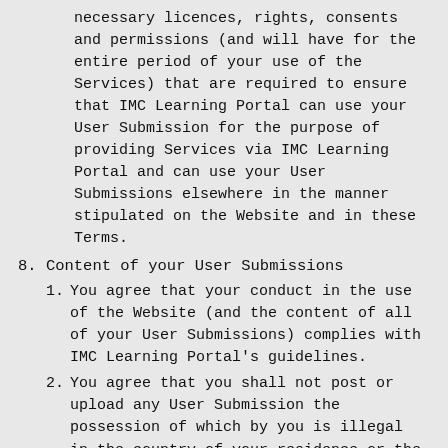necessary licences, rights, consents and permissions (and will have for the entire period of your use of the Services) that are required to ensure that IMC Learning Portal can use your User Submission for the purpose of providing Services via IMC Learning Portal and can use your User Submissions elsewhere in the manner stipulated on the Website and in these Terms.
8. Content of your User Submissions
1. You agree that your conduct in the use of the Website (and the content of all of your User Submissions) complies with IMC Learning Portal's guidelines.
2. You agree that you shall not post or upload any User Submission the possession of which by you is illegal in the country of your residence or the use or possession of which by IMC Learning Portal would be illegal in connection with the provision of Services.
3. You agree that you shall not post or upload any User Submissions that are subject to third-party property